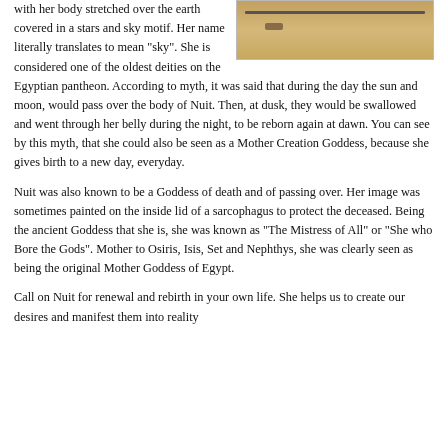[Figure (photo): Partial view of an Egyptian papyrus or artifact, showing a horizontal strip with a tan/brown surface, a dark horizontal line near the top, and a small dark mark below it.]
with her body stretched over the earth covered in a stars and sky motif. Her name literally translates to mean "sky". She is considered one of the oldest deities on the Egyptian pantheon. According to myth, it was said that during the day the sun and moon, would pass over the body of Nuit. Then, at dusk, they would be swallowed and went through her belly during the night, to be reborn again at dawn. You can see by this myth, that she could also be seen as a Mother Creation Goddess, because she gives birth to a new day, everyday.
Nuit was also known to be a Goddess of death and of passing over. Her image was sometimes painted on the inside lid of a sarcophagus to protect the deceased. Being the ancient Goddess that she is, she was known as "The Mistress of All" or "She who Bore the Gods". Mother to Osiris, Isis, Set and Nephthys, she was clearly seen as being the original Mother Goddess of Egypt.
Call on Nuit for renewal and rebirth in your own life. She helps us to create our desires and manifest them into reality